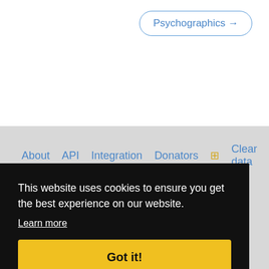Psychographics →
About   API   Integration   Donators ⊞   Clear data
Designed and built by @alsciende. Maintained by NISEI. Please post bug reports and feature requests on Github
This website uses cookies to ensure you get the best experience on our website. Learn more
Got it!
The information presented on this site about Android: Netrunner, both literal and graphical, is copyrighted by